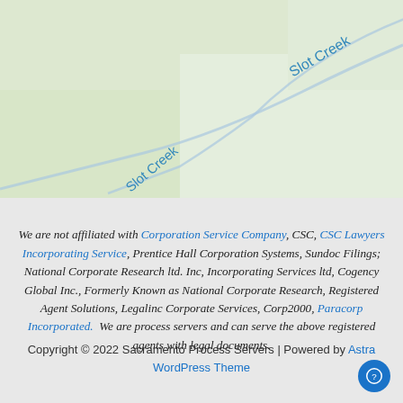[Figure (map): Street map excerpt showing 'Slot Creek' waterway labels on a light green/white topographic map background]
We are not affiliated with Corporation Service Company, CSC, CSC Lawyers Incorporating Service, Prentice Hall Corporation Systems, Sundoc Filings; National Corporate Research ltd. Inc, Incorporating Services ltd, Cogency Global Inc., Formerly Known as National Corporate Research, Registered Agent Solutions, Legalinc Corporate Services, Corp2000, Paracorp Incorporated.  We are process servers and can serve the above registered agents with legal documents.
Copyright © 2022 Sacramento Process Servers | Powered by Astra WordPress Theme